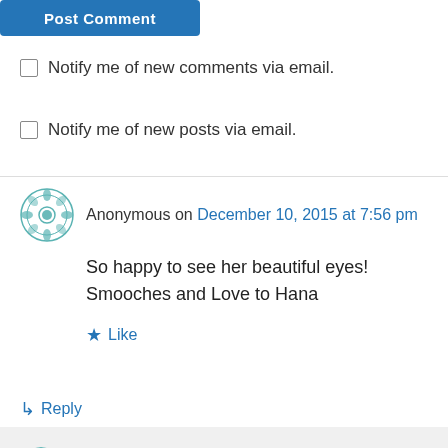[Figure (screenshot): Post Comment button, blue rounded rectangle]
Notify me of new comments via email.
Notify me of new posts via email.
Anonymous on December 10, 2015 at 7:56 pm
So happy to see her beautiful eyes!
Smooches and Love to Hana
★ Like
↳ Reply
Anonymous on December 10, 2015 at 11:53 pm